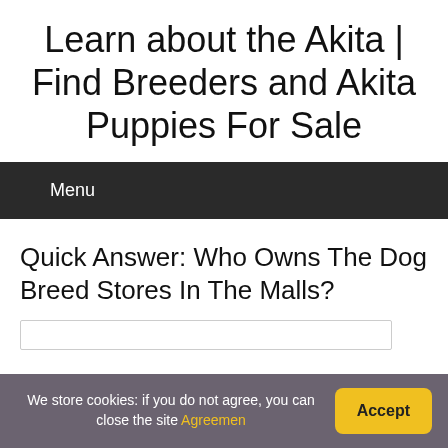Learn about the Akita | Find Breeders and Akita Puppies For Sale
Menu
Quick Answer: Who Owns The Dog Breed Stores In The Malls?
We store cookies: if you do not agree, you can close the site Agreement